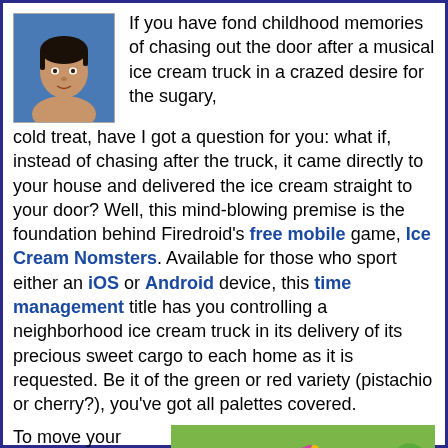[Figure (photo): Profile photo of a woman with short hair against a blue background]
If you have fond childhood memories of chasing out the door after a musical ice cream truck in a crazed desire for the sugary, cold treat, have I got a question for you: what if, instead of chasing after the truck, it came directly to your house and delivered the ice cream straight to your door? Well, this mind-blowing premise is the foundation behind Firedroid's free mobile game, Ice Cream Nomsters. Available for those who sport either an iOS or Android device, this time management title has you controlling a neighborhood ice cream truck in its delivery of its precious sweet cargo to each home as it is requested. Be it of the green or red variety (pistachio or cherry?), you've got all palettes covered.
To move your delivery truck, you
[Figure (screenshot): Screenshot of the Ice Cream Nomsters mobile game showing colorful cartoon characters including monsters and trees on a green background]